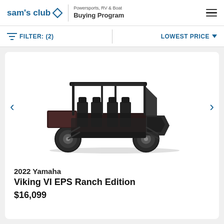sam's club — Powersports, RV & Boat Buying Program
FILTER: (2)   LOWEST PRICE
[Figure (photo): 2022 Yamaha Viking VI EPS Ranch Edition UTV (side-by-side utility vehicle) in dark/black finish with roof canopy, multiple seats, and large off-road tires, shown on white background with left and right navigation arrows]
2022 Yamaha
Viking VI EPS Ranch Edition
$16,099